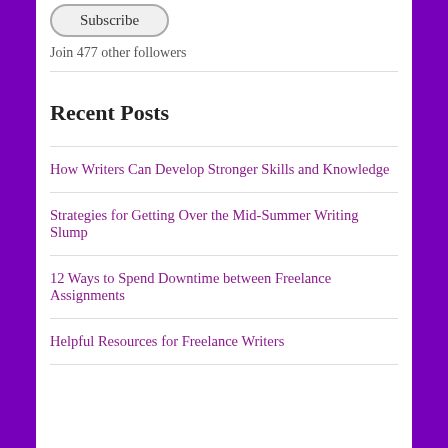[Figure (other): Subscribe button rendered as a pill-shaped button with rounded border]
Join 477 other followers
Recent Posts
How Writers Can Develop Stronger Skills and Knowledge
Strategies for Getting Over the Mid-Summer Writing Slump
12 Ways to Spend Downtime between Freelance Assignments
Helpful Resources for Freelance Writers